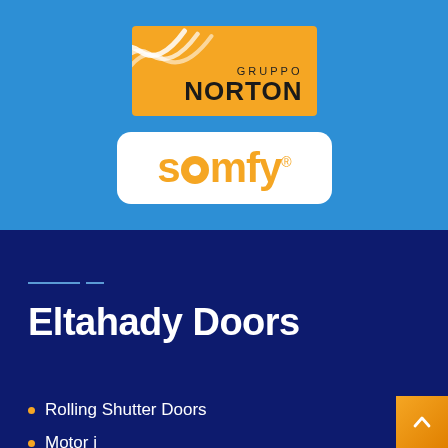[Figure (logo): Gruppo Norton logo — orange rectangle with wave graphic at top and 'GRUPPO NORTON' text]
[Figure (logo): Somfy logo — white rounded rectangle with orange 'somfy.' wordmark]
Eltahady Doors
Rolling Shutter Doors
Motor i…